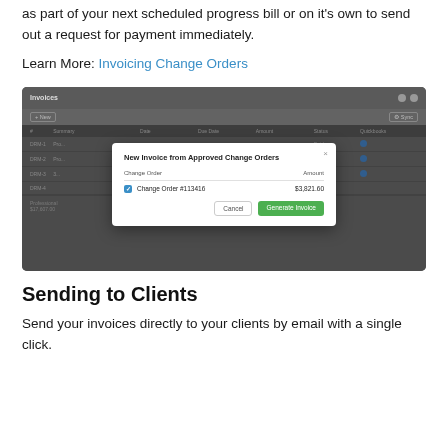amount, either for each change order into a new invoice — either as part of your next scheduled progress bill or on it's own to send out a request for payment immediately.
Learn More: Invoicing Change Orders
[Figure (screenshot): Screenshot of an invoicing application showing an 'Invoices' table with rows (DRM-1, DRM-2, DRM-3, DRM-4) and a modal dialog titled 'New Invoice from Approved Change Orders' with a checked item 'Change Order #113416' for $3,821.60 and a green 'Generate Invoice' button.]
Sending to Clients
Send your invoices directly to your clients by email with a single click.